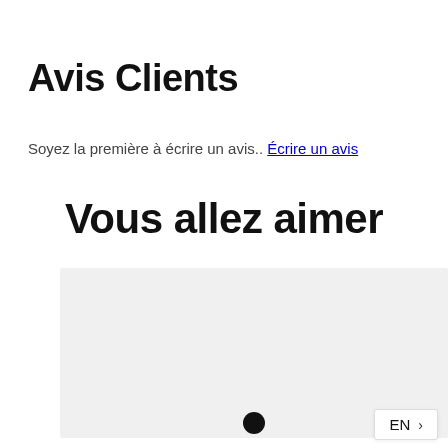Avis Clients
Soyez la première à écrire un avis.. Écrire un avis
Vous allez aimer
[Figure (photo): Light grey rectangular image placeholder with a black circular dot/indicator at the bottom center]
EN >